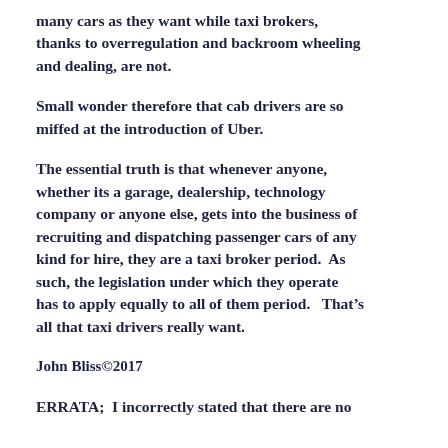many cars as they want while taxi brokers, thanks to overregulation and backroom wheeling and dealing, are not.
Small wonder therefore that cab drivers are so miffed at the introduction of Uber.
The essential truth is that whenever anyone, whether its a garage, dealership, technology company or anyone else, gets into the business of recruiting and dispatching passenger cars of any kind for hire, they are a taxi broker period.  As such, the legislation under which they operate has to apply equally to all of them period.   That’s all that taxi drivers really want.
John Bliss©2017
ERRATA;  I incorrectly stated that there are no